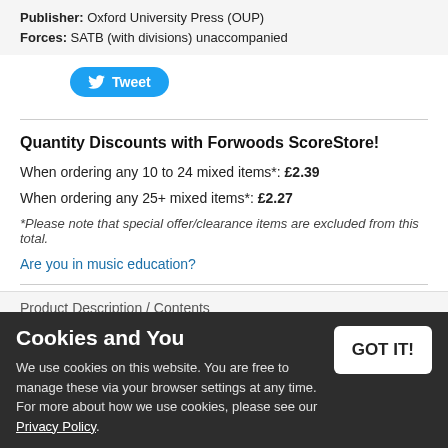Publisher: Oxford University Press (OUP)
Forces: SATB (with divisions) unaccompanied
[Figure (other): Twitter Tweet button]
Quantity Discounts with Forwoods ScoreStore!
When ordering any 10 to 24 mixed items*: £2.39
When ordering any 25+ mixed items*: £2.27
*Please note that special offer/clearance items are excluded from this total.
Are you in music education?
Product Description / Contents
Cookies and You
We use cookies on this website. You are free to manage these via your browser settings at any time. For more about how we use cookies, please see our Privacy Policy.